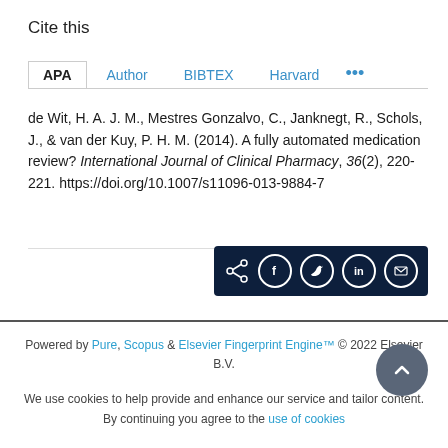Cite this
APA  Author  BIBTEX  Harvard  ...
de Wit, H. A. J. M., Mestres Gonzalvo, C., Janknegt, R., Schols, J., & van der Kuy, P. H. M. (2014). A fully automated medication review? International Journal of Clinical Pharmacy, 36(2), 220-221. https://doi.org/10.1007/s11096-013-9884-7
[Figure (other): Share icons bar with share, Facebook, Twitter, LinkedIn, and email icons on dark navy background]
Powered by Pure, Scopus & Elsevier Fingerprint Engine™ © 2022 Elsevier B.V.
We use cookies to help provide and enhance our service and tailor content. By continuing you agree to the use of cookies